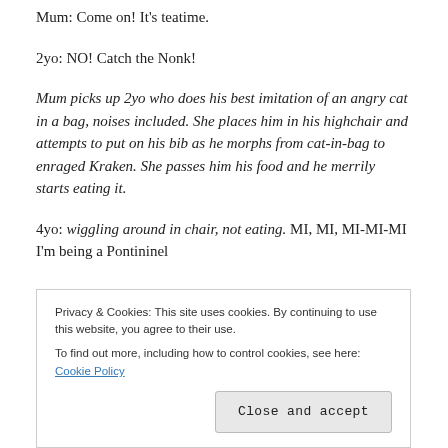Mum: Come on! It's teatime.
2yo: NO! Catch the Nonk!
Mum picks up 2yo who does his best imitation of an angry cat in a bag, noises included. She places him in his highchair and attempts to put on his bib as he morphs from cat-in-bag to enraged Kraken. She passes him his food and he merrily starts eating it.
4yo: wiggling around in chair, not eating. MI, MI, MI-MI-MI I'm being a Pontininel
Privacy & Cookies: This site uses cookies. By continuing to use this website, you agree to their use. To find out more, including how to control cookies, see here: Cookie Policy
Close and accept